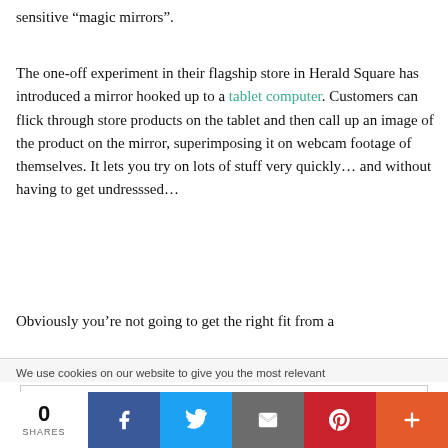sensitive “magic mirrors”.
The one-off experiment in their flagship store in Herald Square has introduced a mirror hooked up to a tablet computer. Customers can flick through store products on the tablet and then call up an image of the product on the mirror, superimposing it on webcam footage of themselves. It lets you try on lots of stuff very quickly… and without having to get undresssed…
Obviously you’re not going to get the right fit from a
We use cookies on our website to give you the most relevant
Privacy & Cookies: This site uses cookies. By continuing to use this website, you agree to their use.
To find out more, including how to control cookies, see here: Cookie Policy
0 SHARES | Facebook | Twitter | Email | Pinterest | More